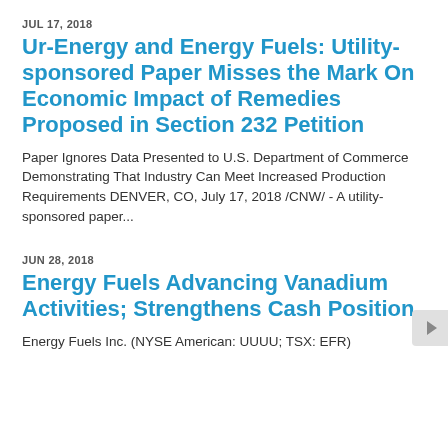JUL 17, 2018
Ur-Energy and Energy Fuels: Utility-sponsored Paper Misses the Mark On Economic Impact of Remedies Proposed in Section 232 Petition
Paper Ignores Data Presented to U.S. Department of Commerce Demonstrating That Industry Can Meet Increased Production Requirements DENVER, CO, July 17, 2018 /CNW/ - A utility-sponsored paper...
JUN 28, 2018
Energy Fuels Advancing Vanadium Activities; Strengthens Cash Position
Energy Fuels Inc. (NYSE American: UUUU; TSX: EFR)